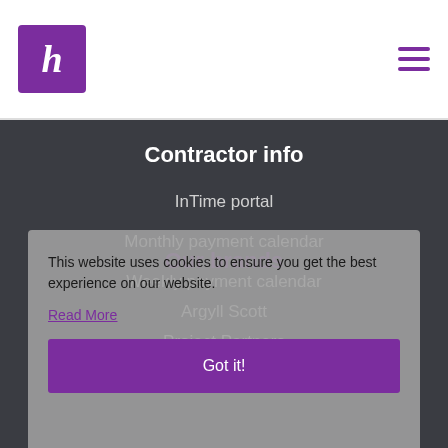[Figure (logo): Purple square logo with white italic letter h]
Hamburger menu icon (three horizontal purple lines)
Contractor info
InTime portal
Monthly payment calendar
Weekly payment calendar
Our brands
Argyll Scott
Project Partners
Hydrogen Group
This website uses cookies to ensure you get the best experience on our website.
Read More
Got it!